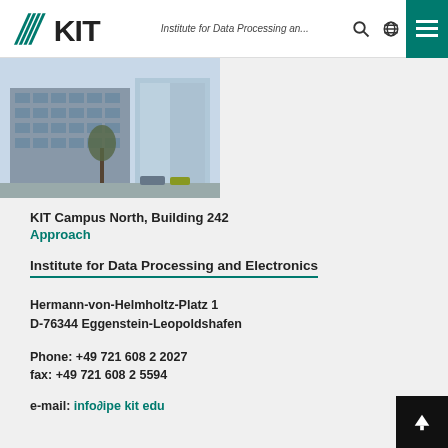KIT — Institute for Data Processing an...
[Figure (photo): Photograph of KIT Campus North Building 242, a multi-story office/laboratory building]
KIT Campus North, Building 242
Approach
Institute for Data Processing and Electronics
Hermann-von-Helmholtz-Platz 1
D-76344 Eggenstein-Leopoldshafen
Phone: +49 721 608 2 2027
fax: +49 721 608 2 5594
e-mail: info@ipe.kit.edu